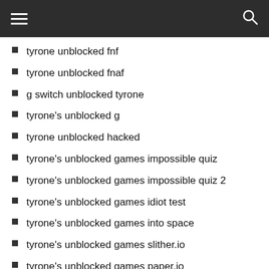≡ [search icon]
tyrone unblocked fnf
tyrone unblocked fnaf
g switch unblocked tyrone
tyrone's unblocked g
tyrone unblocked hacked
tyrone's unblocked games impossible quiz
tyrone's unblocked games impossible quiz 2
tyrone's unblocked games idiot test
tyrone's unblocked games into space
tyrone's unblocked games slither.io
tyrone's unblocked games paper.io
tyrone's unblocked games paper.io 2
tyrone's unblocked games jacksmith